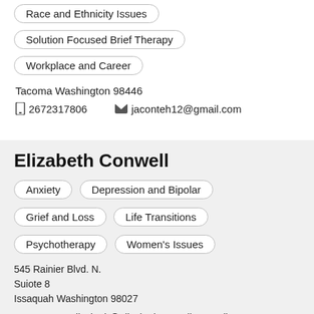Race and Ethnicity Issues
Solution Focused Brief Therapy
Workplace and Career
Tacoma Washington 98446
2672317806   jaconteh12@gmail.com
Elizabeth Conwell
Anxiety
Depression and Bipolar
Grief and Loss
Life Transitions
Psychotherapy
Women's Issues
545 Rainier Blvd. N.
Suiote 8
Issaquah Washington 98027
(425)  elizabeth@elizabethconwellcounseling. 523-